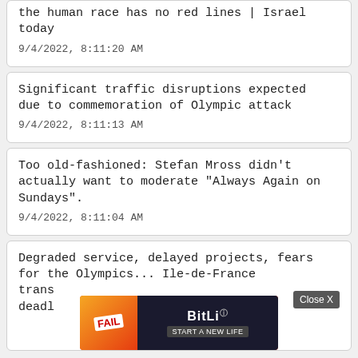the human race has no red lines | Israel today
9/4/2022, 8:11:20 AM
Significant traffic disruptions expected due to commemoration of Olympic attack
9/4/2022, 8:11:13 AM
Too old-fashioned: Stefan Mross didn't actually want to moderate "Always Again on Sundays".
9/4/2022, 8:11:04 AM
Degraded service, delayed projects, fears for the Olympics... Ile-de-France trans... deadl...